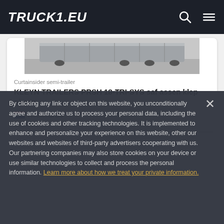TRUCK1.EU
[Figure (photo): Partial view of a curtainsider semi-trailer, cropped at top]
Curtainsider semi-trailer
KLEYN TRAILERS PRSH 18-TRI-SYS saf assen klep nieuw
Netherlands
51 900 EUR
By clicking any link or object on this website, you unconditionally agree and authorize us to process your personal data, including the use of cookies and other tracking technologies. It is implemented to enhance and personalize your experience on this website, other our websites and websites of third-party advertisers cooperating with us. Our partnering companies may also store cookies on your device or use similar technologies to collect and process the personal information. Learn more about how we treat your private information.